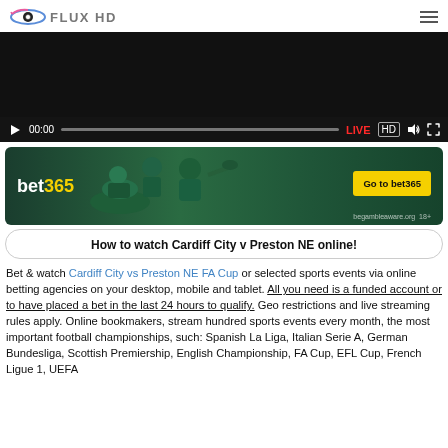FLUX HD
[Figure (screenshot): Video player with black screen, showing controls: play button, 00:00, seekbar, LIVE, HD, volume, fullscreen. Dark control bar at bottom.]
[Figure (photo): bet365 advertisement banner with green background showing sports athletes (horse racing, tennis). Yellow 'Go to bet365' button on right. begambleaware.org 18+ text.]
How to watch Cardiff City v Preston NE online!
Bet & watch Cardiff City vs Preston NE FA Cup or selected sports events via online betting agencies on your desktop, mobile and tablet. All you need is a funded account or to have placed a bet in the last 24 hours to qualify. Geo restrictions and live streaming rules apply. Online bookmakers, stream hundred sports events every month, the most important football championships, such: Spanish La Liga, Italian Serie A, German Bundesliga, Scottish Premiership, English Championship, FA Cup, EFL Cup, French Ligue 1, UEFA